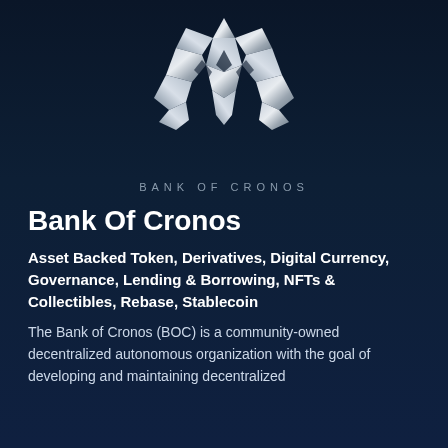[Figure (logo): Bank of Cronos metallic wolf/shield geometric logo in silver-grey tones on dark navy background, with text 'BANK OF CRONOS' below in spaced caps]
Bank Of Cronos
Asset Backed Token, Derivatives, Digital Currency, Governance, Lending & Borrowing, NFTs & Collectibles, Rebase, Stablecoin
The Bank of Cronos (BOC) is a community-owned decentralized autonomous organization with the goal of developing and maintaining decentralized